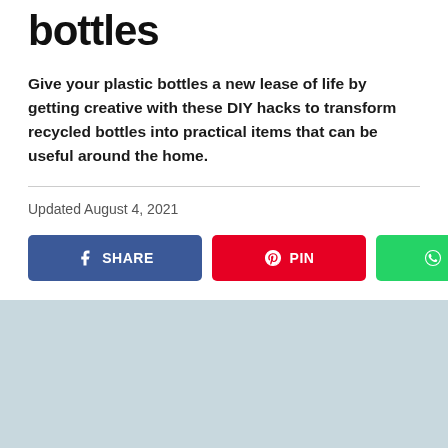bottles
Give your plastic bottles a new lease of life by getting creative with these DIY hacks to transform recycled bottles into practical items that can be useful around the home.
Updated August 4, 2021
[Figure (other): Social share buttons: Facebook SHARE (blue), Pinterest PIN (red), WhatsApp SHARE (green)]
[Figure (other): Light blue-grey background section at the bottom of the page]